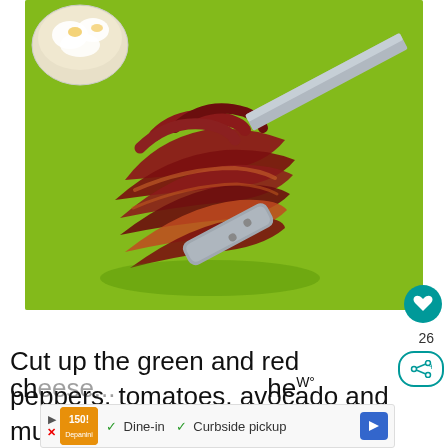[Figure (photo): Photo of cooked bacon strips on a green cutting board with a steak knife, and a bowl of eggs in the top left corner]
Cut up the green and red peppers, tomatoes, avocado and muenster ch...
[Figure (infographic): Advertisement banner showing restaurant logo with Dine-in and Curbside pickup options]